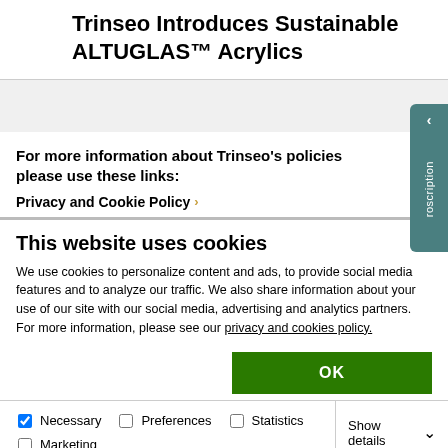Trinseo Introduces Sustainable ALTUGLAS™ Acrylics
For more information about Trinseo's policies please use these links:
Privacy and Cookie Policy ›
This website uses cookies
We use cookies to personalize content and ads, to provide social media features and to analyze our traffic. We also share information about your use of our site with our social media, advertising and analytics partners. For more information, please see our privacy and cookies policy.
OK
Necessary  Preferences  Statistics  Marketing  Show details